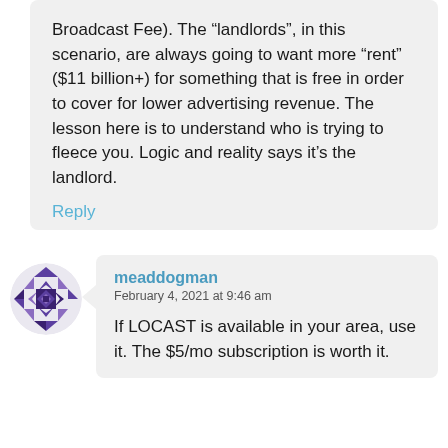Broadcast Fee). The “landlords”, in this scenario, are always going to want more “rent” ($11 billion+) for something that is free in order to cover for lower advertising revenue. The lesson here is to understand who is trying to fleece you. Logic and reality says it’s the landlord.
Reply
meaddogman
February 4, 2021 at 9:46 am
If LOCAST is available in your area, use it. The $5/mo subscription is worth it.